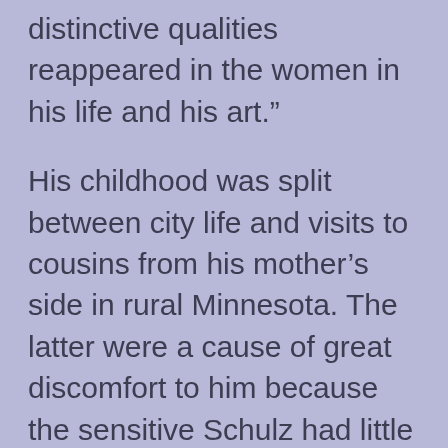distinctive qualities reappeared in the women in his life and his art.”
His childhood was split between city life and visits to cousins from his mother’s side in rural Minnesota. The latter were a cause of great discomfort to him because the sensitive Schulz had little in common with his country cousins. The bullying he suffered there were illustrated in his